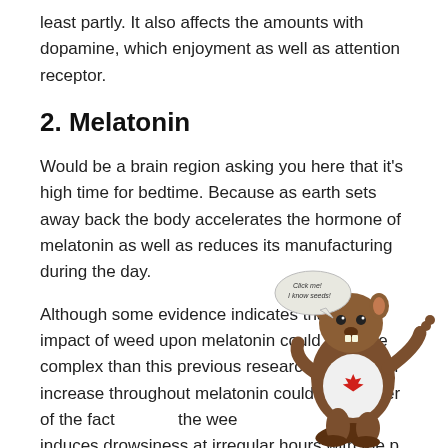least partly. It also affects the amounts with dopamine, which enjoyment as well as attention receptor.
2. Melatonin
Would be a brain region asking you here that it's high time for bedtime. Because as earth sets away back the body accelerates the hormone of melatonin as well as reduces its manufacturing during the day.
Although some evidence indicates that the impact of weed upon melatonin could be more complex than this previous research implies, an increase throughout melatonin could be another of the fact the wee induces drowsiness at irregular hours with the p
3. Terpenes
Cannabis has more to it than merely THC, also a few
[Figure (illustration): Cartoon beaver mascot wearing a white t-shirt with a red maple leaf, with a speech bubble saying 'Click me! I know seeds!']